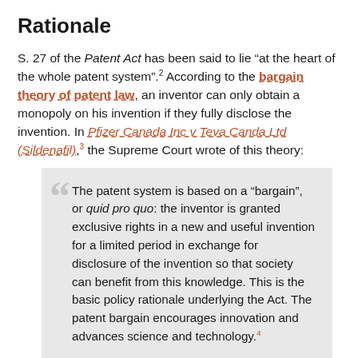Rationale
S. 27 of the Patent Act has been said to lie “at the heart of the whole patent system”.2 According to the bargain theory of patent law, an inventor can only obtain a monopoly on his invention if they fully disclose the invention. In Pfizer Canada Inc v Teva Canda Ltd (Sildenafil),3 the Supreme Court wrote of this theory:
The patent system is based on a “bargain”, or quid pro quo: the inventor is granted exclusive rights in a new and useful invention for a limited period in exchange for disclosure of the invention so that society can benefit from this knowledge. This is the basic policy rationale underlying the Act. The patent bargain encourages innovation and advances science and technology.4